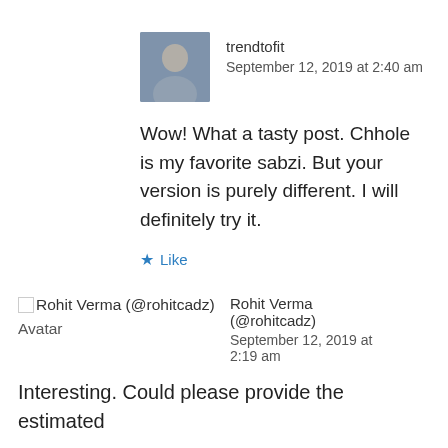[Figure (photo): Avatar photo of trendtofit user, a woman]
trendtofit
September 12, 2019 at 2:40 am
Wow! What a tasty post. Chhole is my favorite sabzi. But your version is purely different. I will definitely try it.
★ Like
[Figure (photo): Broken image placeholder for Rohit Verma (@rohitcadz) Avatar]
Rohit Verma (@rohitcadz)
September 12, 2019 at 2:19 am
Interesting. Could please provide the estimated